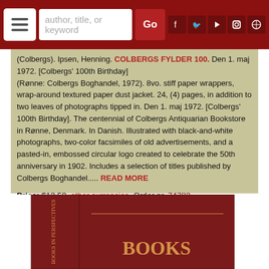Navigation bar with hamburger menu, search box, Go button, and social icons (Facebook, Twitter, YouTube, Instagram, WordPress)
(Colbergs). Ipsen, Henning. COLBERGS FYLDER 100. Den 1. maj 1972. [Colbergs' 100th Birthday] (Rønne: Colbergs Boghandel, 1972). 8vo. stiff paper wrappers, wrap-around textured paper dust jacket. 24, (4) pages, in addition to two leaves of photographs tipped in. Den 1. maj 1972. [Colbergs' 100th Birthday]. The centennial of Colbergs Antiquarian Bookstore in Rønne, Denmark. In Danish. Illustrated with black-and-white photographs, two-color facsimiles of old advertisements, and a pasted-in, embossed circular logo created to celebrate the 50th anniversary in 1902. Includes a selection of titles published by Colbergs Boghandel..... READ MORE
Price: $12.50  other currencies  Order nr. 74783
Add to Cart
[Figure (photo): Photo of two books with dark red/burgundy covers, one showing spine text 'BOOKS IN PERSPECTIVES' and the other showing the cover with gold text 'BOOKS']